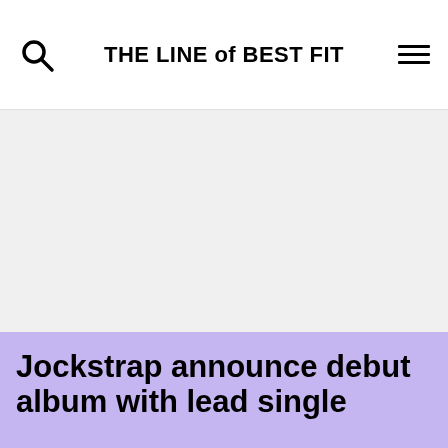THE LINE of BEST FIT
[Figure (photo): Large light grey placeholder image area below the site header]
Jockstrap announce debut album with lead single